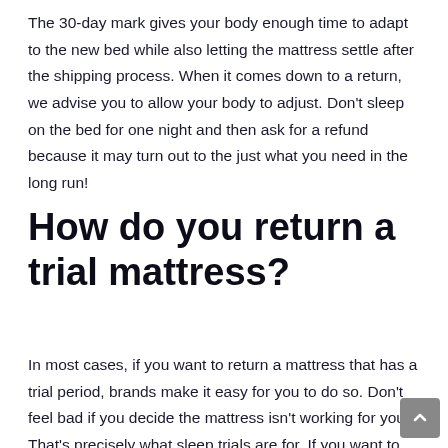The 30-day mark gives your body enough time to adapt to the new bed while also letting the mattress settle after the shipping process. When it comes down to a return, we advise you to allow your body to adjust. Don't sleep on the bed for one night and then ask for a refund because it may turn out to the just what you need in the long run!
How do you return a trial mattress?
In most cases, if you want to return a mattress that has a trial period, brands make it easy for you to do so. Don't feel bad if you decide the mattress isn't working for you. That's precisely what sleep trials are for. If you want to